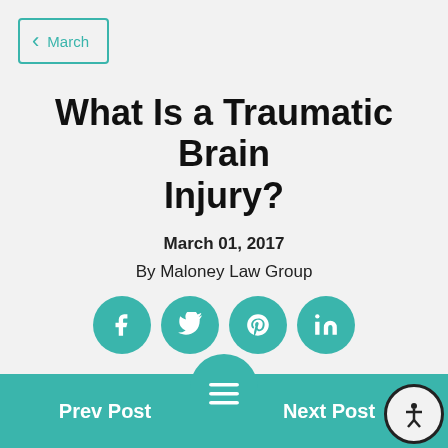March
What Is a Traumatic Brain Injury?
March 01, 2017
By Maloney Law Group
[Figure (other): Social share icons: Facebook, Twitter, Pinterest, LinkedIn]
Prev Post | Next Post